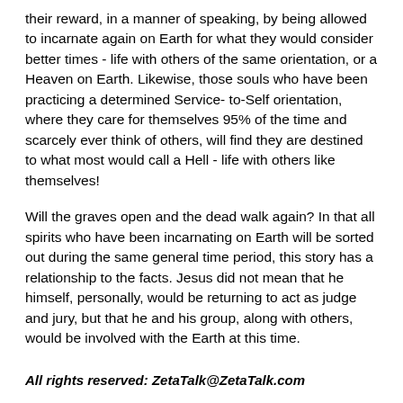their reward, in a manner of speaking, by being allowed to incarnate again on Earth for what they would consider better times - life with others of the same orientation, or a Heaven on Earth. Likewise, those souls who have been practicing a determined Service- to-Self orientation, where they care for themselves 95% of the time and scarcely ever think of others, will find they are destined to what most would call a Hell - life with others like themselves!
Will the graves open and the dead walk again? In that all spirits who have been incarnating on Earth will be sorted out during the same general time period, this story has a relationship to the facts. Jesus did not mean that he himself, personally, would be returning to act as judge and jury, but that he and his group, along with others, would be involved with the Earth at this time.
All rights reserved: ZetaTalk@ZetaTalk.com